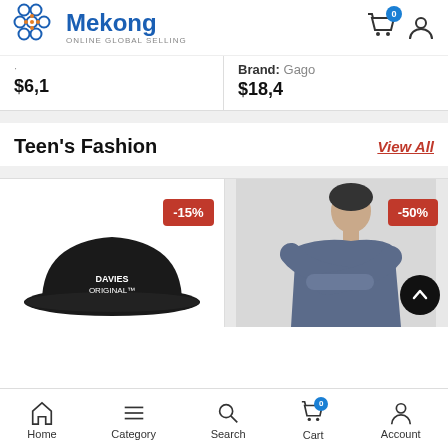[Figure (logo): Mekong Online Global Selling logo with circular icon and blue text]
$6,1
Brand: Gago
$18,4
Teen's Fashion
View All
[Figure (photo): Black Davies Original cap with -15% discount badge]
[Figure (photo): Man in blue sweater with arms crossed, -50% discount badge]
Home  Category  Search  Cart  Account